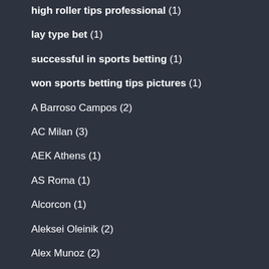high roller tips professional (1)
lay type bet (1)
successful in sports betting (1)
won sports betting tips pictures (1)
A Barroso Campos (2)
AC Milan (3)
AEK Athens (1)
AS Roma (1)
Alcorcon (1)
Aleksei Oleinik (2)
Alex Munoz (2)
Alexander Hernandez (1)
Andrey Rublev (1)
Argentina (1)